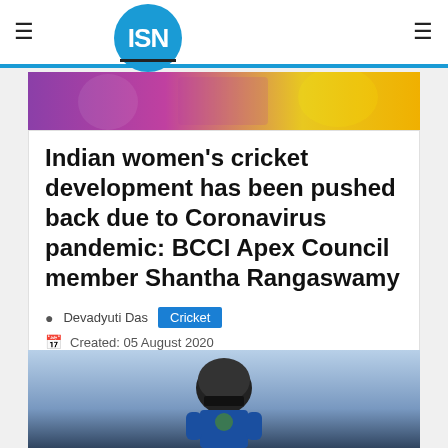ISN
[Figure (photo): Colorful top banner image showing cricket players in pink/purple and yellow kit]
Indian women's cricket development has been pushed back due to Coronavirus pandemic: BCCI Apex Council member Shantha Rangaswamy
Devadyuti Das   Cricket
Created: 05 August 2020
[Figure (photo): Cricket player wearing helmet, Indian team uniform, playing a shot]